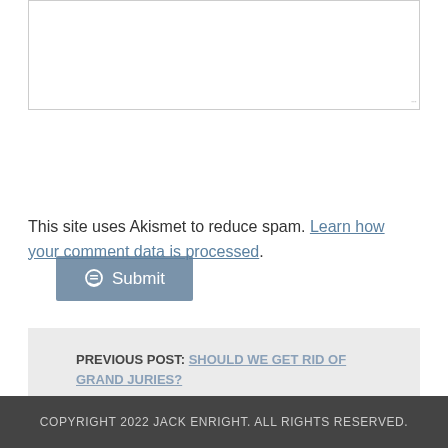[Figure (other): Text area input box with resize handle in bottom-right corner]
Submit button with comment icon
This site uses Akismet to reduce spam. Learn how your comment data is processed.
PREVIOUS POST: SHOULD WE GET RID OF GRAND JURIES?
NEXT POST: ANARCHY AND MUTUALISM: A LIBERTARIAN SYNTHESIS
COPYRIGHT 2022 JACK ENRIGHT. ALL RIGHTS RESERVED.